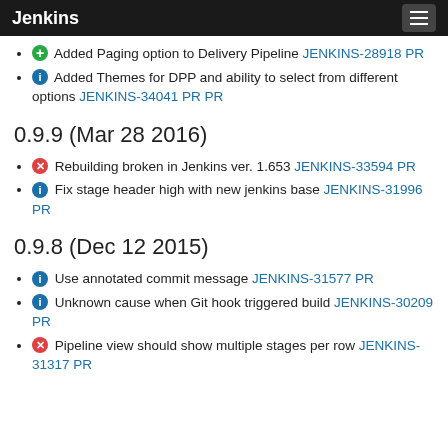Jenkins
Added Paging option to Delivery Pipeline JENKINS-28918 PR
Added Themes for DPP and ability to select from different options JENKINS-34041 PR PR
0.9.9 (Mar 28 2016)
Rebuilding broken in Jenkins ver. 1.653 JENKINS-33594 PR
Fix stage header high with new jenkins base JENKINS-31996 PR
0.9.8 (Dec 12 2015)
Use annotated commit message JENKINS-31577 PR
Unknown cause when Git hook triggered build JENKINS-30209 PR
Pipeline view should show multiple stages per row JENKINS-31317 PR